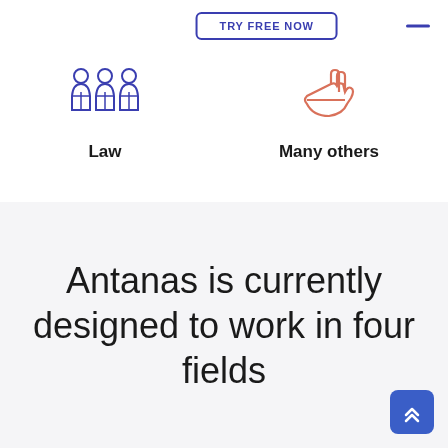TRY FREE NOW
[Figure (illustration): Blue icon of three people in suits (law/team icon) and salmon/orange icon of an open hand (many others icon)]
Law
Many others
Antanas is currently designed to work in four fields